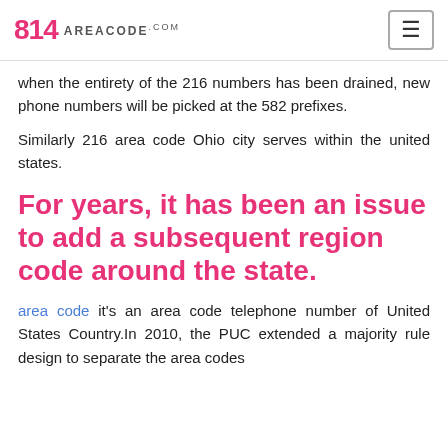814 AREACODE.COM
when the entirety of the 216 numbers has been drained, new phone numbers will be picked at the 582 prefixes.
Similarly 216 area code Ohio city serves within the united states.
For years, it has been an issue to add a subsequent region code around the state.
area code it's an area code telephone number of United States Country.In 2010, the PUC extended a majority rule design to separate the area codes